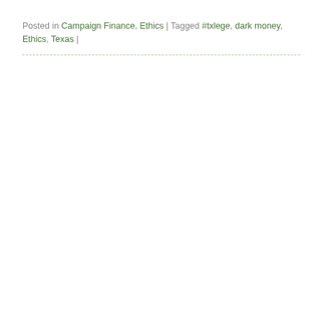Posted in Campaign Finance, Ethics | Tagged #txlege, dark money, Ethics, Texas |